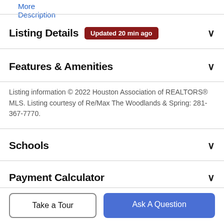More Description
Listing Details  Updated 20 min ago
Features & Amenities
Listing information © 2022 Houston Association of REALTORS® MLS. Listing courtesy of Re/Max The Woodlands & Spring: 281-367-7770.
Schools
Payment Calculator
Contact Agent
Take a Tour
Ask A Question